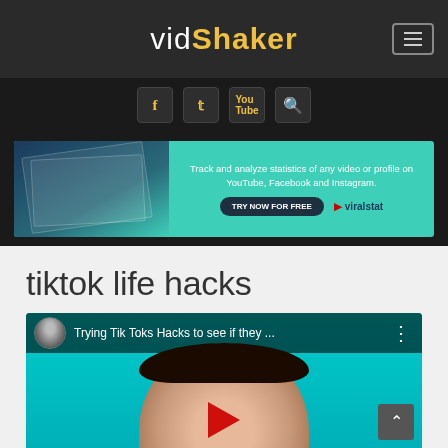vidShaker
[Figure (screenshot): Social media icon buttons: Facebook, Twitter, YouTube, Search on dark background]
[Figure (screenshot): Viralstat advertisement banner: Track and analyze statistics of any video or profile on YouTube, Facebook and Instagram. TRY NOW FOR FREE]
tiktok life hacks
[Figure (screenshot): YouTube video thumbnail: Trying Tik Toks Hacks to see if they ... with woman's face on teal background and red play button]